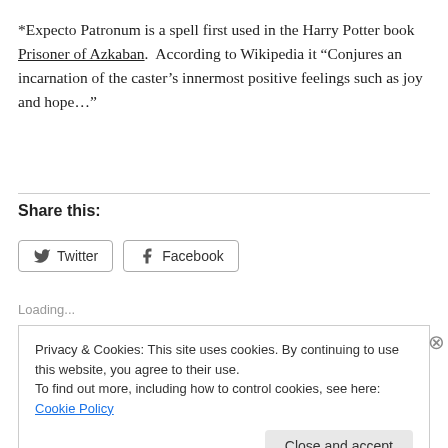*Expecto Patronum is a spell first used in the Harry Potter book Prisoner of Azkaban.  According to Wikipedia it “Conjures an incarnation of the caster’s innermost positive feelings such as joy and hope…”
Share this:
[Figure (other): Twitter and Facebook share buttons]
Loading...
Privacy & Cookies: This site uses cookies. By continuing to use this website, you agree to their use.
To find out more, including how to control cookies, see here: Cookie Policy